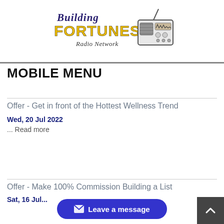[Figure (logo): Building Fortunes Radio Network logo with stylized text and radio illustration]
MOBILE MENU
Offer - Get in front of the Hottest Wellness Trend
Wed, 20 Jul 2022
... Read more
Offer - Make 100% Commission Building a List
Sat, 16 Jul...
[Figure (other): Leave a message button (blue rounded pill with envelope icon)]
[Figure (other): Back to top button (dark grey square with chevron up)]